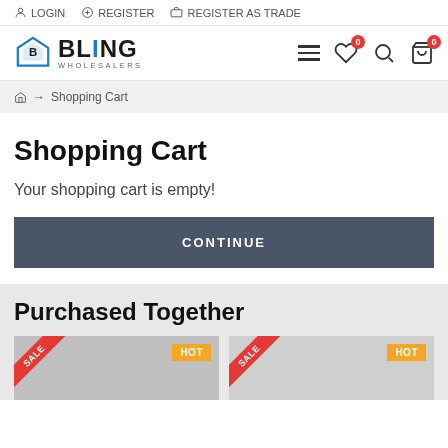LOGIN | REGISTER | REGISTER AS TRADE
[Figure (logo): Bling Wholesalers logo with house icon and blue/black text]
Shopping Cart
Shopping Cart
Your shopping cart is empty!
CONTINUE
Purchased Together
[Figure (photo): Product card with SALE ribbon and HOT badge]
[Figure (photo): Product card with SALE ribbon and HOT badge]